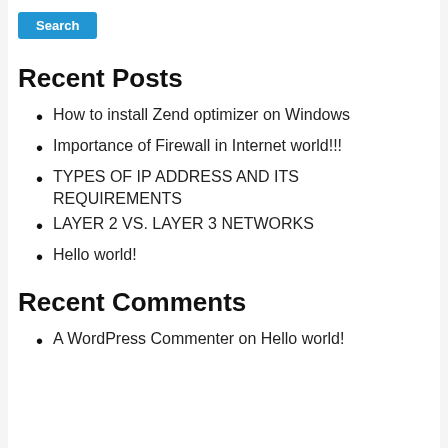Recent Posts
How to install Zend optimizer on Windows
Importance of Firewall in Internet world!!!
TYPES OF IP ADDRESS AND ITS REQUIREMENTS
LAYER 2 VS. LAYER 3 NETWORKS
Hello world!
Recent Comments
A WordPress Commenter on Hello world!